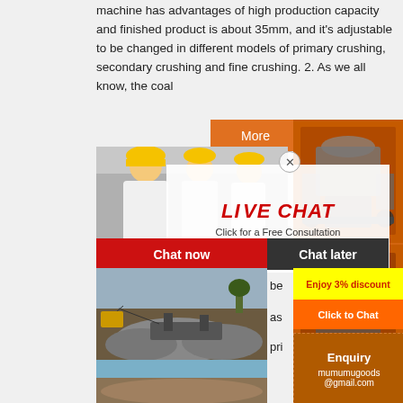machine has advantages of high production capacity and finished product is about 35mm, and it's adjustable to be changed in different models of primary crushing, secondary crushing and fine crushing. 2. As we all know, the coal
[Figure (screenshot): Orange 'More' button and orange panel with crushing machine equipment images on right side]
[Figure (screenshot): Live chat overlay with worker photo, LIVE CHAT heading in red italic, 'Click for a Free Consultation' subtitle, close button, Chat now (red) and Chat later (dark) buttons]
[Figure (photo): Mining site with excavator and crushed rock/aggregate]
[Figure (screenshot): Enjoy 3% discount yellow banner, Click to Chat orange button, Enquiry box with mumumugoods@gmail.com]
[Figure (photo): Bottom partial photo of mining landscape]